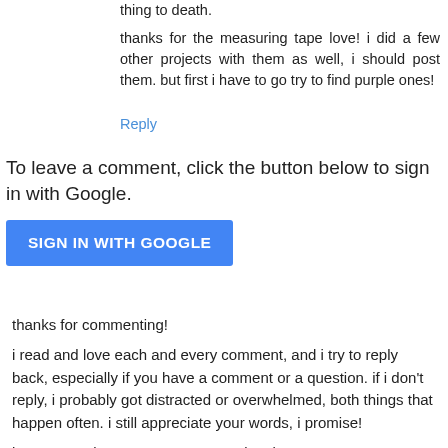thing to death.
thanks for the measuring tape love! i did a few other projects with them as well, i should post them. but first i have to go try to find purple ones!
Reply
To leave a comment, click the button below to sign in with Google.
[Figure (other): SIGN IN WITH GOOGLE button — a blue rounded rectangle with white uppercase bold text]
thanks for commenting!
i read and love each and every comment, and i try to reply back, especially if you have a comment or a question. if i don't reply, i probably got distracted or overwhelmed, both things that happen often. i still appreciate your words, i promise!
i've removed anonymous commenting, because